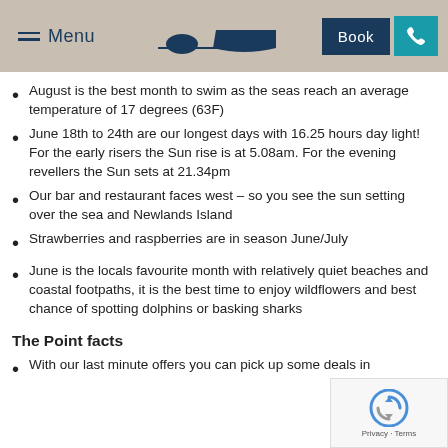Menu | Book
August is the best month to swim as the seas reach an average temperature of 17 degrees (63F)
June 18th to 24th are our longest days with 16.25 hours day light! For the early risers the Sun rise is at 5.08am. For the evening revellers the Sun sets at 21.34pm
Our bar and restaurant faces west – so you see the sun setting over the sea and Newlands Island
Strawberries and raspberries are in season June/July
June is the locals favourite month with relatively quiet beaches and coastal footpaths, it is the best time to enjoy wildflowers and best chance of spotting dolphins or basking sharks
The Point facts
With our last minute offers you can pick up some deals in